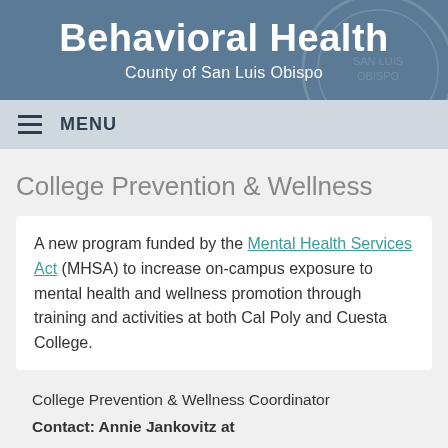Behavioral Health
County of San Luis Obispo
≡  MENU
College Prevention & Wellness
A new program funded by the Mental Health Services Act (MHSA) to increase on-campus exposure to mental health and wellness promotion through training and activities at both Cal Poly and Cuesta College.
College Prevention & Wellness Coordinator
Contact: Annie Jankovitz at